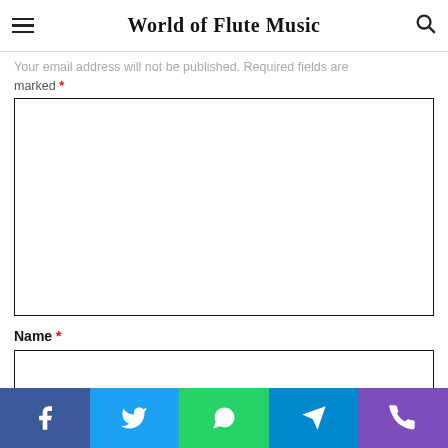World of Flute Music
Your email address will not be published. Required fields are marked *
[Figure (screenshot): Large empty comment text area with black border]
Name *
[Figure (screenshot): Single-line name input field with black border]
Email *
[Figure (screenshot): Single-line email input field with black border, partially visible]
[Figure (infographic): Social sharing bar with Facebook, Twitter, WhatsApp, Telegram, and Phone buttons]